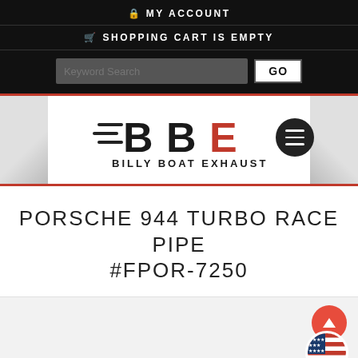MY ACCOUNT
SHOPPING CART IS EMPTY
Keyword Search GO
[Figure (logo): Billy Boat Exhaust (BBE) logo with black and red lettering]
PORSCHE 944 TURBO RACE PIPE #FPOR-7250
[Figure (photo): Product image area (partially visible, light gray background)]